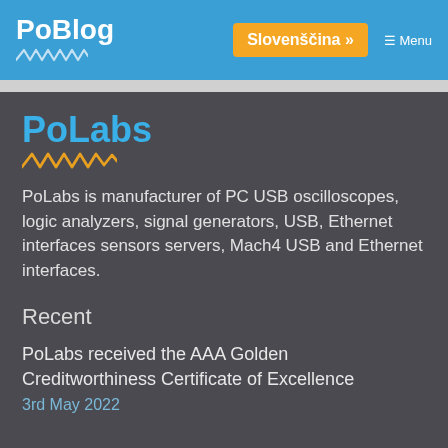PoBlog
Slovenščina »
[Figure (logo): PoLabs logo with blue text and orange wavy underline graphic]
PoLabs is manufacturer of PC USB oscilloscopes, logic analyzers, signal generators, USB, Ethernet interfaces sensors servers, Mach4 USB and Ethernet interfaces.
Recent
PoLabs received the AAA Golden Creditworthiness Certificate of Excellence
3rd May 2022